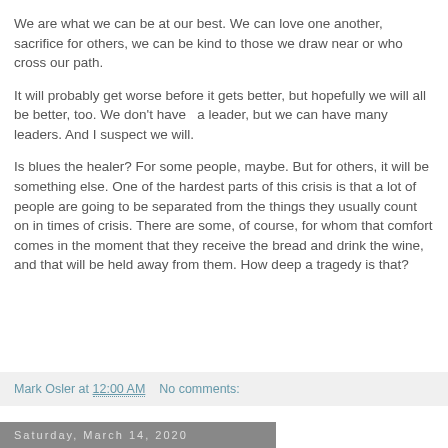We are what we can be at our best. We can love one another, sacrifice for others, we can be kind to those we draw near or who cross our path.
It will probably get worse before it gets better, but hopefully we will all be better, too. We don't have  a leader, but we can have many leaders. And I suspect we will.
Is blues the healer? For some people, maybe. But for others, it will be something else. One of the hardest parts of this crisis is that a lot of people are going to be separated from the things they usually count on in times of crisis. There are some, of course, for whom that comfort comes in the moment that they receive the bread and drink the wine, and that will be held away from them. How deep a tragedy is that?
Mark Osler at 12:00 AM   No comments:
Saturday, March 14, 2020